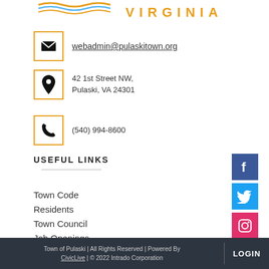[Figure (logo): Town of Pulaski Virginia logo with wave graphic and orange text VIRGINIA]
webadmin@pulaskitown.org
42 1st Street NW, Pulaski, VA 24301
(540) 994-8600
USEFUL LINKS
Town Code
Residents
Town Council
Job Openings
Public Information
[Figure (logo): Facebook icon - blue square with white f]
[Figure (logo): Twitter icon - blue square with white bird]
[Figure (logo): Instagram icon - pink/red square with white camera]
Town of Pulaski | All Rights Reserved | Powered By CivicLive | © 2022 Intrado Corporation   LOGIN